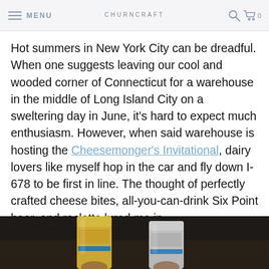MENU | CHURNCRAFT | [search icon] [cart icon] 0
Hot summers in New York City can be dreadful. When one suggests leaving our cool and wooded corner of Connecticut for a warehouse in the middle of Long Island City on a sweltering day in June, it's hard to expect much enthusiasm. However, when said warehouse is hosting the Cheesemonger's Invitational, dairy lovers like myself hop in the car and fly down I-678 to be first in line. The thought of perfectly crafted cheese bites, all-you-can-drink Six Point beer, and raclette lured me in...
[Figure (photo): Photo of two beer cans being held up, partially visible at bottom of page]